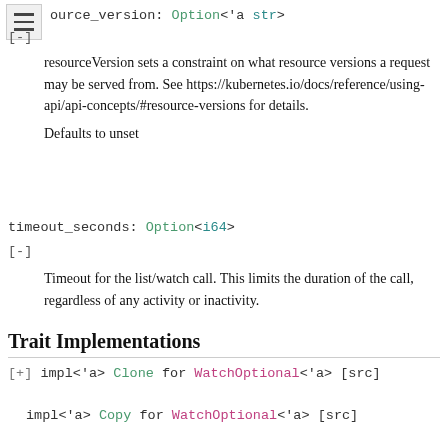source_version: Option<&'a str>
[-]
resourceVersion sets a constraint on what resource versions a request may be served from. See https://kubernetes.io/docs/reference/using-api/api-concepts/#resource-versions for details.

Defaults to unset
timeout_seconds: Option<i64>
[-]
Timeout for the list/watch call. This limits the duration of the call, regardless of any activity or inactivity.
Trait Implementations
[+] impl<'a> Clone for WatchOptional<'a> [src]
impl<'a> Copy for WatchOptional<'a> [src]